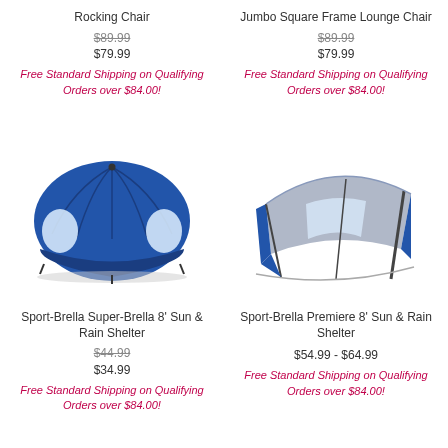Rocking Chair
$89.99 (strikethrough)
$79.99
Free Standard Shipping on Qualifying Orders over $84.00!
Jumbo Square Frame Lounge Chair
$89.99 (strikethrough)
$79.99
Free Standard Shipping on Qualifying Orders over $84.00!
[Figure (photo): Blue Sport-Brella Super-Brella 8 foot sun and rain shelter umbrella tent, closed dome style]
Sport-Brella Super-Brella 8' Sun & Rain Shelter
$44.99 (strikethrough)
$34.99
Free Standard Shipping on Qualifying Orders over $84.00!
[Figure (photo): Blue and grey Sport-Brella Premiere 8 foot sun and rain shelter umbrella tent, open side panel style]
Sport-Brella Premiere 8' Sun & Rain Shelter
$54.99 - $64.99
Free Standard Shipping on Qualifying Orders over $84.00!